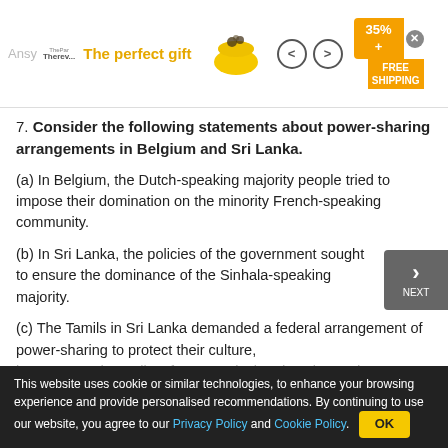[Figure (screenshot): Advertisement banner showing 'The perfect gift' with a bowl image, navigation arrows, and 35% + FREE SHIPPING offer.]
7. Consider the following statements about power-sharing arrangements in Belgium and Sri Lanka.
(a) In Belgium, the Dutch-speaking majority people tried to impose their domination on the minority French-speaking community.
(b) In Sri Lanka, the policies of the government sought to ensure the dominance of the Sinhala-speaking majority.
(c) The Tamils in Sri Lanka demanded a federal arrangement of power-sharing to protect their culture, language and equality of opportunity in education and
This website uses cookie or similar technologies, to enhance your browsing experience and provide personalised recommendations. By continuing to use our website, you agree to our Privacy Policy and Cookie Policy.